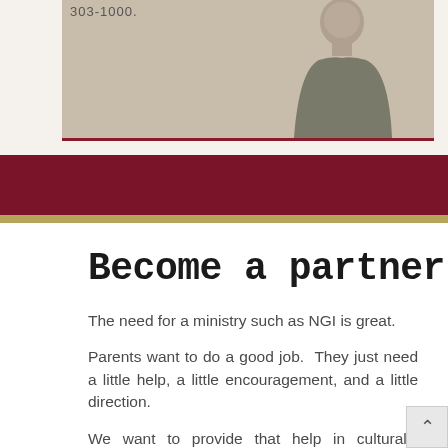[Figure (photo): Partial view of a person in a grey shirt, with a phone number partially visible at top left (appears to show '303-1000.' or similar). Image box has a dark red bottom border.]
Become a partner
The need for a ministry such as NGI is great.
Parents want to do a good job.  They just need a little help, a little encouragement, and a little direction.
We want to provide that help in culturally relevant ways, ways that don't involve shame or judgment, just some honest, heartfelt help and